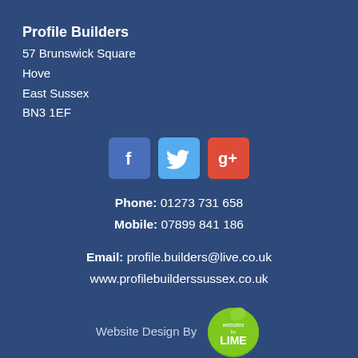Profile Builders
57 Brunswick Square
Hove
East Sussex
BN3 1EF
[Figure (logo): Social media icons: Facebook (blue), Twitter (light blue), Google+ (red-orange)]
Phone: 01273 731 658
Mobile: 07899 841 186
Email: profile.builders@live.co.uk
www.profilebuilderssussex.co.uk
Website Design By [Lime logo]
© Copyright 2022 Websites by Lime. All Rights Reserved.